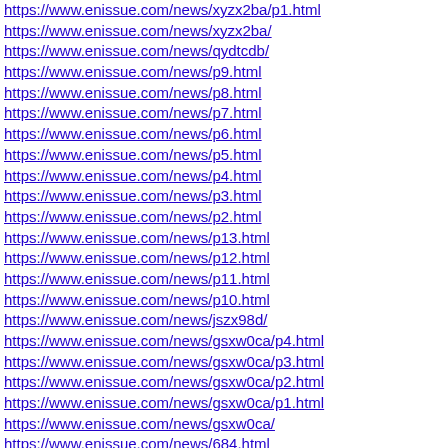https://www.enissue.com/news/xyzx2ba/p1.html
https://www.enissue.com/news/xyzx2ba/
https://www.enissue.com/news/qydtcdb/
https://www.enissue.com/news/p9.html
https://www.enissue.com/news/p8.html
https://www.enissue.com/news/p7.html
https://www.enissue.com/news/p6.html
https://www.enissue.com/news/p5.html
https://www.enissue.com/news/p4.html
https://www.enissue.com/news/p3.html
https://www.enissue.com/news/p2.html
https://www.enissue.com/news/p13.html
https://www.enissue.com/news/p12.html
https://www.enissue.com/news/p11.html
https://www.enissue.com/news/p10.html
https://www.enissue.com/news/jszx98d/
https://www.enissue.com/news/gsxw0ca/p4.html
https://www.enissue.com/news/gsxw0ca/p3.html
https://www.enissue.com/news/gsxw0ca/p2.html
https://www.enissue.com/news/gsxw0ca/p1.html
https://www.enissue.com/news/gsxw0ca/
https://www.enissue.com/news/684.html
https://www.enissue.com/news/683.html
https://www.enissue.com/news/682.html
https://www.enissue.com/news/681.html